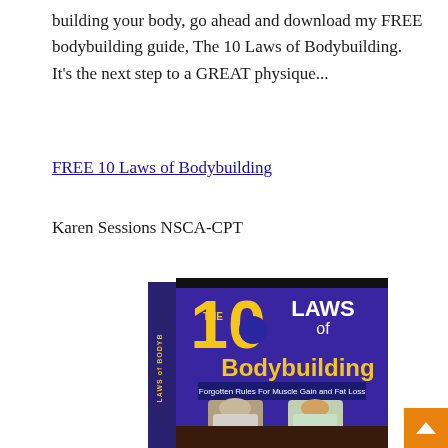building your body, go ahead and download my FREE bodybuilding guide, The 10 Laws of Bodybuilding.  It's the next step to a GREAT physique...
FREE 10 Laws of Bodybuilding
Karen Sessions NSCA-CPT
[Figure (photo): Book cover of 'The 10 Laws of Bodybuilding: Forgotten Rules For Muscle Gain and Fat Loss' by Karen Sessions, showing a man and woman bodybuilder on the cover with purple background and yellow/gold title text.]